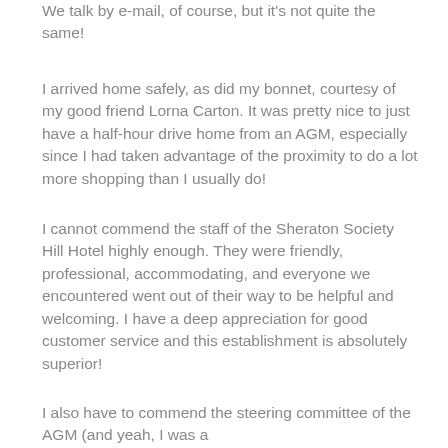We talk by e-mail, of course, but it's not quite the same!
I arrived home safely, as did my bonnet, courtesy of my good friend Lorna Carton. It was pretty nice to just have a half-hour drive home from an AGM, especially since I had taken advantage of the proximity to do a lot more shopping than I usually do!
I cannot commend the staff of the Sheraton Society Hill Hotel highly enough. They were friendly, professional, accommodating, and everyone we encountered went out of their way to be helpful and welcoming. I have a deep appreciation for good customer service and this establishment is absolutely superior!
I also have to commend the steering committee of the AGM (and yeah, I was a